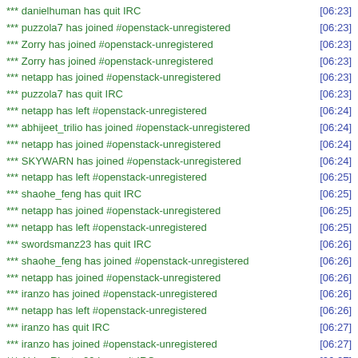*** danielhuman has quit IRC [06:23]
*** puzzola7 has joined #openstack-unregistered [06:23]
*** Zorry has joined #openstack-unregistered [06:23]
*** Zorry has joined #openstack-unregistered [06:23]
*** netapp has joined #openstack-unregistered [06:23]
*** puzzola7 has quit IRC [06:23]
*** netapp has left #openstack-unregistered [06:24]
*** abhijeet_trilio has joined #openstack-unregistered [06:24]
*** netapp has joined #openstack-unregistered [06:24]
*** SKYWARN has joined #openstack-unregistered [06:24]
*** netapp has left #openstack-unregistered [06:25]
*** shaohe_feng has quit IRC [06:25]
*** netapp has joined #openstack-unregistered [06:25]
*** netapp has left #openstack-unregistered [06:25]
*** swordsmanz23 has quit IRC [06:26]
*** shaohe_feng has joined #openstack-unregistered [06:26]
*** netapp has joined #openstack-unregistered [06:26]
*** iranzo has joined #openstack-unregistered [06:26]
*** netapp has left #openstack-unregistered [06:26]
*** iranzo has quit IRC [06:27]
*** iranzo has joined #openstack-unregistered [06:27]
*** AbbeyRipstra29 has quit IRC [06:27]